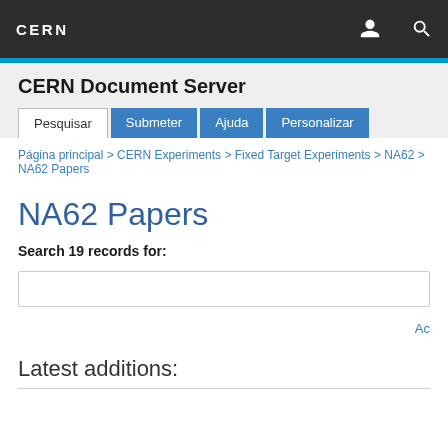CERN
CERN Document Server
Pesquisar | Submeter | Ajuda | Personalizar
Página principal > CERN Experiments > Fixed Target Experiments > NA62 > NA62 Papers
NA62 Papers
Search 19 records for:
Ac
Latest additions: